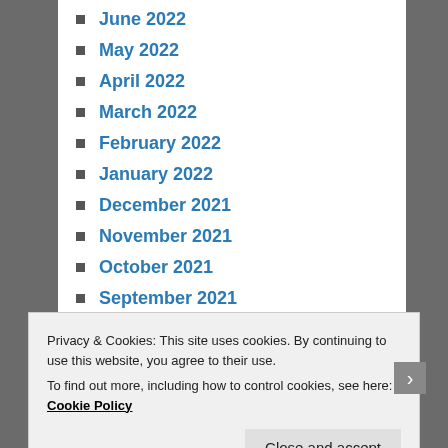June 2022
May 2022
April 2022
March 2022
February 2022
January 2022
December 2021
November 2021
October 2021
September 2021
August 2021
July 2021
June 2021
May 2021
Privacy & Cookies: This site uses cookies. By continuing to use this website, you agree to their use.
To find out more, including how to control cookies, see here: Cookie Policy